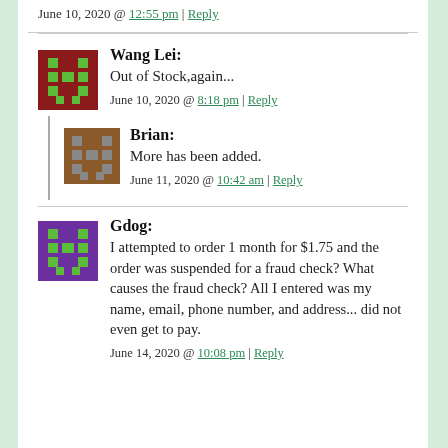June 10, 2020 @ 12:55 pm | Reply
[Figure (illustration): Pixel art avatar for Wang Lei - dark red/maroon background with green pixel character]
Wang Lei: Out of Stock,again...
June 10, 2020 @ 8:18 pm | Reply
[Figure (illustration): Pixel art avatar for Brian - brown background with gray pixel character]
Brian: More has been added.
June 11, 2020 @ 10:42 am | Reply
[Figure (illustration): Pixel art avatar for Gdog - purple background with green pixel character]
Gdog: I attempted to order 1 month for $1.75 and the order was suspended for a fraud check? What causes the fraud check? All I entered was my name, email, phone number, and address... did not even get to pay.
June 14, 2020 @ 10:08 pm | Reply